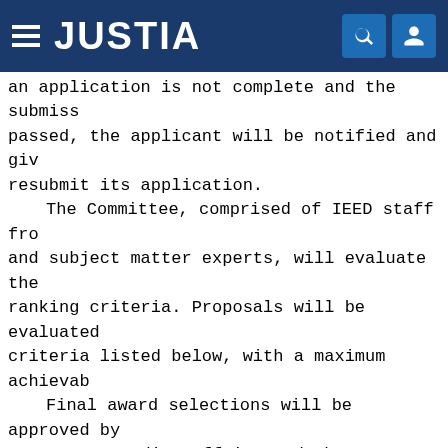JUSTIA
an application is not complete and the submiss- passed, the applicant will be notified and giv- resubmit its application.
The Committee, comprised of IEED staff fro- and subject matter experts, will evaluate the ranking criteria. Proposals will be evaluated criteria listed below, with a maximum achievab-
Final award selections will be approved by Secretary--Indian Affairs and the Associate De- Department of the Interior. Applicants not sel- notified in writing.
X. Evaluation Criteria
Clarity and Reasonableness: 20 points. The LLGP grant proposals for completeness, organiz- reasonableness of identified costs, all in the